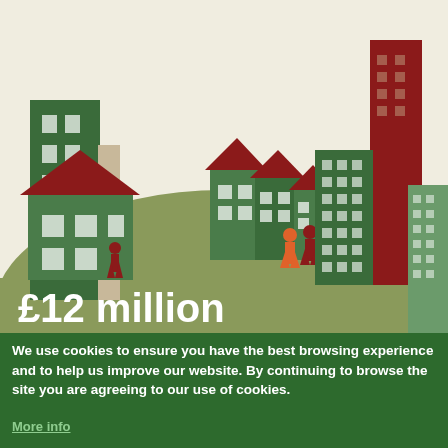[Figure (illustration): Illustrated urban/suburban scene with green and dark red buildings of various sizes, a rolling green hill in the middle background, and three human figures (one dark red, one orange, one dark red) on the landscape. The scene shows apartment blocks, terraced houses, and tower blocks in green and dark red color scheme against a cream/off-white background.]
£12 million
We use cookies to ensure you have the best browsing experience and to help us improve our website. By continuing to browse the site you are agreeing to our use of cookies.
More info